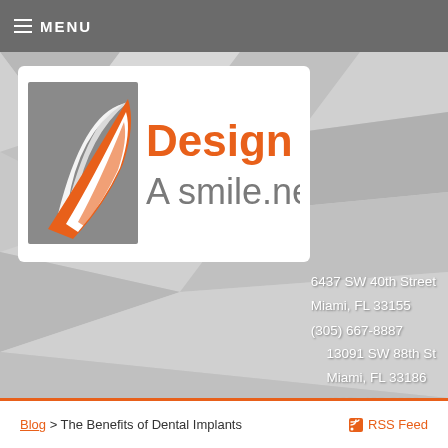≡ MENU
[Figure (logo): Design A Smile .net dental practice logo with orange leaf/smile graphic and gray square background on left, orange 'Design' text and gray 'A smile.net' text on right]
6437 SW 40th Street
Miami, FL 33155
(305) 667-8887
13091 SW 88th St
Miami, FL 33186
(305) 408-3388
Blog > The Benefits of Dental Implants    RSS Feed